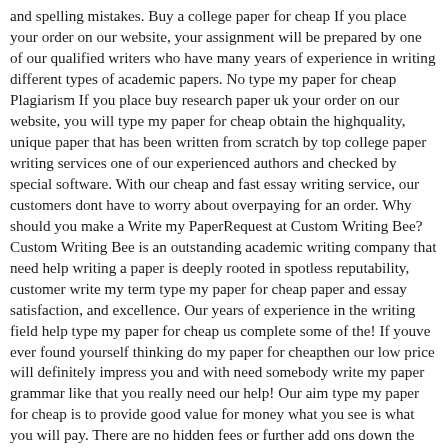and spelling mistakes. Buy a college paper for cheap If you place your order on our website, your assignment will be prepared by one of our qualified writers who have many years of experience in writing different types of academic papers. No type my paper for cheap Plagiarism If you place buy research paper uk your order on our website, you will type my paper for cheap obtain the highquality, unique paper that has been written from scratch by top college paper writing services one of our experienced authors and checked by special software. With our cheap and fast essay writing service, our customers dont have to worry about overpaying for an order. Why should you make a Write my PaperRequest at Custom Writing Bee? Custom Writing Bee is an outstanding academic writing company that need help writing a paper is deeply rooted in spotless reputability, customer write my term type my paper for cheap paper and essay satisfaction, and excellence. Our years of experience in the writing field help type my paper for cheap us complete some of the! If youve ever found yourself thinking do my paper for cheapthen our low price will definitely impress you and with need somebody write my paper grammar like that you really need our help! Our aim type my paper for cheap is to provide good value for money what you see is what you will pay. There are no hidden fees or further add ons down the line. We believe in acting fairly and being transparent with our prices. You might find a type my paper for cheap cheaper price elsewhere, but we!